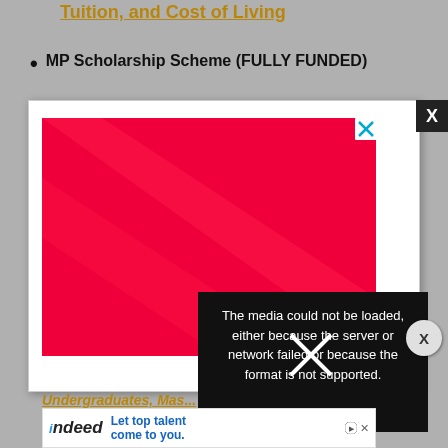Tuition, and Cost of Living
MP Scholarship Scheme (FULLY FUNDED)
[Figure (other): Modal popup with a red media player area showing a diagonal highlight, with a close X button in the top right corner. The media failed to load.]
The media could not be loaded, either because the server or network failed or because the format is not supported.
Undergraduates, Mas...
[Figure (other): Indeed advertisement banner: Let top talent come to you.]